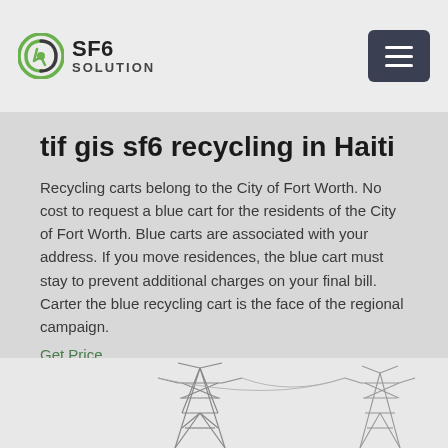SF6 SOLUTION
tif gis sf6 recycling in Haiti
Recycling carts belong to the City of Fort Worth. No cost to request a blue cart for the residents of the City of Fort Worth. Blue carts are associated with your address. If you move residences, the blue cart must stay to prevent additional charges on your final bill. Carter the blue recycling cart is the face of the regional campaign.
Get Price
[Figure (photo): Power transmission towers / electrical pylons against a light sky background]